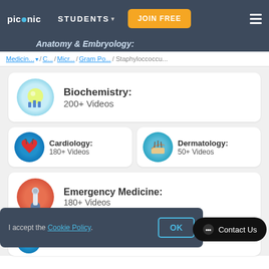picmonic STUDENTS ▾ JOIN FREE
Anatomy & Embryology:
Medicin... ▾ / C... / Micr... / Gram Po... / Staphyloccoccu...
Biochemistry: 200+ Videos
Cardiology: 180+ Videos
Dermatology: 50+ Videos
Emergency Medicine: 180+ Videos
I accept the Cookie Policy.
OK
Contact Us